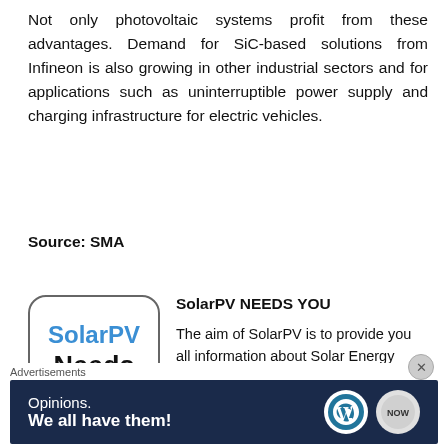Not only photovoltaic systems profit from these advantages. Demand for SiC-based solutions from Infineon is also growing in other industrial sectors and for applications such as uninterruptible power supply and charging infrastructure for electric vehicles.
Source: SMA
[Figure (logo): SolarPV Needs YOU logo — rounded rectangle border, 'SolarPV' in blue bold, 'Needs' in black bold, 'YOU' in red bold]
SolarPV NEEDS YOU

The aim of SolarPV is to provide you all information about Solar Energy Industry. Even the smallest amount of support is hugely appreciated. It is not necessary to be registered on PayPal
Advertisements
[Figure (other): Dark navy advertisement banner: 'Opinions. We all have them!' with WordPress logo and another icon on the right]